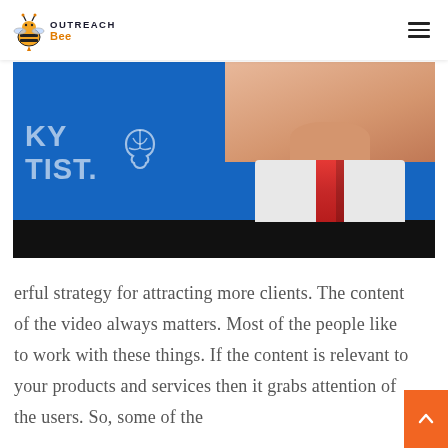OUTREACH Bee — navigation header with hamburger menu
[Figure (photo): Partial screenshot/image of a man in a white shirt and red tie against a blue background, with partial text 'KY' and 'TIST.' visible and a brain logo graphic. Lower portion is a black bar.]
erful strategy for attracting more clients. The content of the video always matters. Most of the people like to work with these things. If the content is relevant to your products and services then it grabs attention of the users. So, some of the